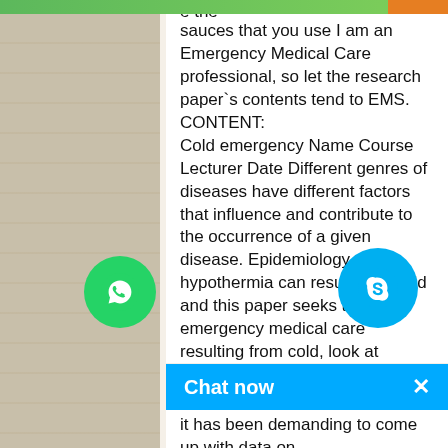e the sauces that you use I am an Emergency Medical Care professional, so let the research paper`s contents tend to EMS. CONTENT: Cold emergency Name Course Lecturer Date Different genres of diseases have different factors that influence and contribute to the occurrence of a given disease. Epidemiology of hypothermia can result from cold and this paper seeks to look at emergency medical care resulting from cold, look at epidemiology and pathophysiology of cold emergencies and as well give a description on how to provide good care to cold victims. In other case, we well also give tips on how to survive if one is suffering from hypothermia which is the plague when it comes to cold related diseases. It is has been ed that most of cold related injuries and othermia, are generally unpremeditated. her words, they can be caused by homelessness or lack of adequate it has been demanding to come up with data on